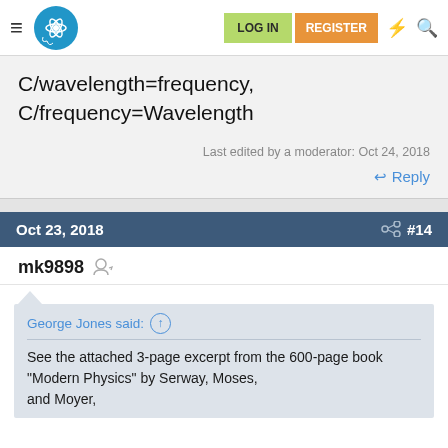Physics forum navigation bar with logo, LOG IN, REGISTER buttons
C/wavelength=frequency, C/frequency=Wavelength
Last edited by a moderator: Oct 24, 2018
↩ Reply
Oct 23, 2018  #14
mk9898
George Jones said: ↑
See the attached 3-page excerpt from the 600-page book "Modern Physics" by Serway, Moses, and Moyer,